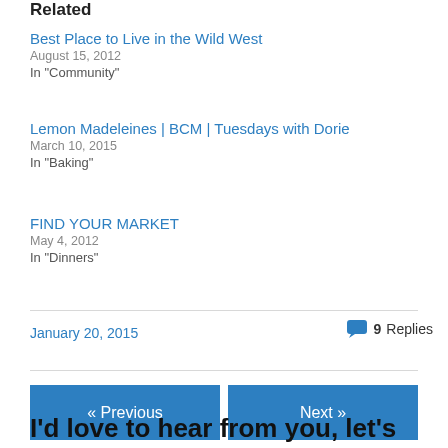Related
Best Place to Live in the Wild West
August 15, 2012
In "Community"
Lemon Madeleines | BCM | Tuesdays with Dorie
March 10, 2015
In "Baking"
FIND YOUR MARKET
May 4, 2012
In "Dinners"
January 20, 2015
9 Replies
« Previous
Next »
I'd love to hear from you, let's